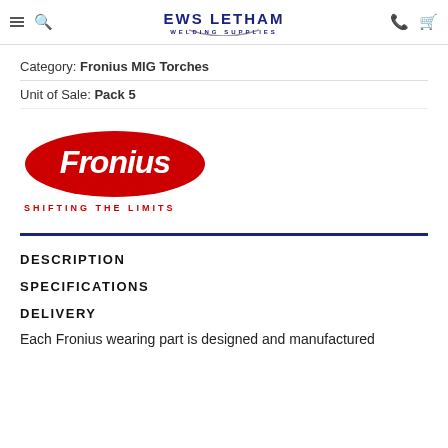EWS LETHAM WELDING SUPPLIES
Category: Fronius MIG Torches
Unit of Sale: Pack 5
[Figure (logo): Fronius logo - red oval with white Fronius text and tagline SHIFTING THE LIMITS in red below]
DESCRIPTION
SPECIFICATIONS
DELIVERY
Each Fronius wearing part is designed and manufactured